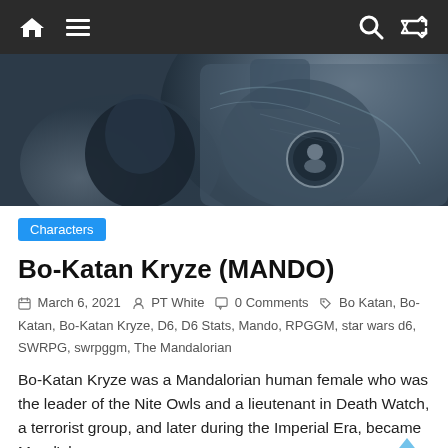Navigation bar with home, menu, search, and shuffle icons
[Figure (photo): Close-up photo of a person in dark Mandalorian-style armor, shot from behind/side angle showing shoulder pauldron with a circular emblem.]
Characters
Bo-Katan Kryze (MANDO)
March 6, 2021  PT White  0 Comments  Bo Katan, Bo-Katan, Bo-Katan Kryze, D6, D6 Stats, Mando, RPGGM, star wars d6, SWRPG, swrpggm, The Mandalorian
Bo-Katan Kryze was a Mandalorian human female who was the leader of the Nite Owls and a lieutenant in Death Watch, a terrorist group, and later during the Imperial Era, became Mand'alor.